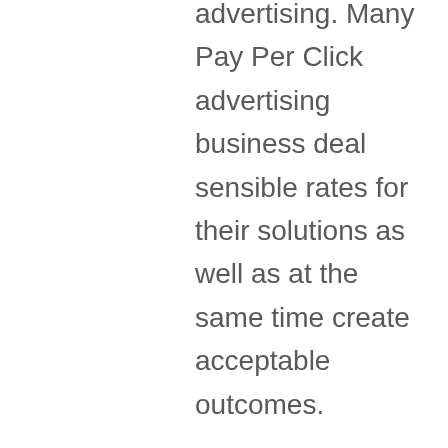advertising. Many Pay Per Click advertising business deal sensible rates for their solutions as well as at the same time create acceptable outcomes.
A Pay Per Click marketing professional can take care of all the information generally associated with a PPC marketing project. Dealing with a PPC marketing task is a time consuming procedure that can be frustrating for a